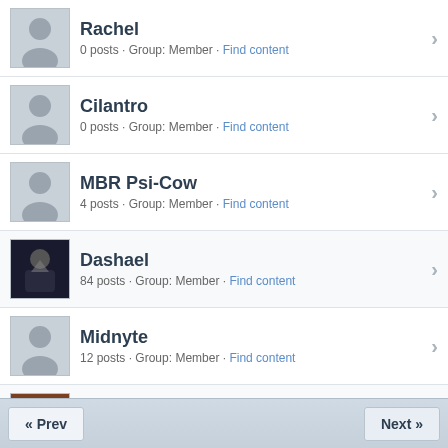Rachel — 0 posts · Group: Member · Find content
Cilantro — 0 posts · Group: Member · Find content
MBR Psi-Cow — 4 posts · Group: Member · Find content
Dashael — 84 posts · Group: Member · Find content
Midnyte — 12 posts · Group: Member · Find content
hlidskialf — 2510 posts · Group: Modder · Find content
Aragornchewi — 14 posts · Group: Member · Find content
« Prev    Next »